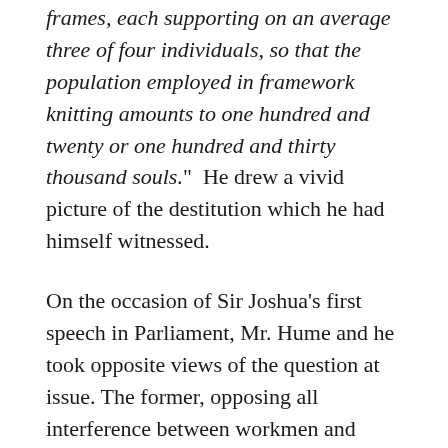frames, each supporting on an average three of four individuals, so that the population employed in framework knitting amounts to one hundred and twenty or one hundred and thirty thousand souls.”  He drew a vivid picture of the destitution which he had himself witnessed.
On the occasion of Sir Joshua’s first speech in Parliament, Mr. Hume and he took opposite views of the question at issue. The former, opposing all interference between workmen and masters, voted against Sir Henry Halford’s Bill. It is one of the few instances in which, during the period they worked together in Parliament, Sir Joshua’s and Mr. Hume’s votes were opposed.
“ The career which I was now eagerly entering upon, “ says Sir Joshua, “ was suddenly cut short.  A petition